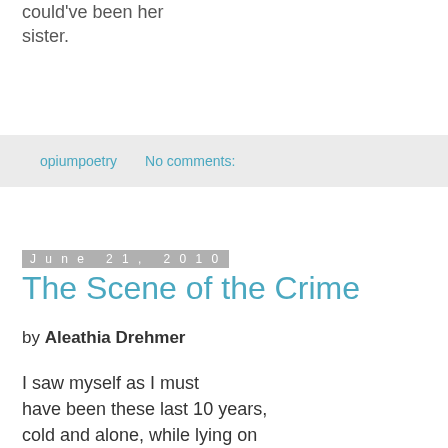could've been her sister.
opiumpoetry    No comments:
June 21, 2010
The Scene of the Crime
by Aleathia Drehmer
I saw myself as I must
have been these last 10 years,
cold and alone, while lying on
the Mexican blanket listening to old tyme
fiddlers jamming in the far tent;

he rose from the makeshift bed, not knowing
that woman, never having the opportunity
to see her on his weekend jaunts to the country